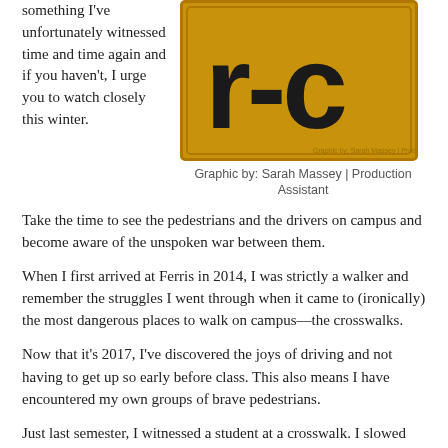something I've unfortunately witnessed time and time again and if you haven't, I urge you to watch closely this winter. Take the time to see the pedestrians and the drivers on campus and become aware of the unspoken war between them.
[Figure (illustration): A yellow warning sign with bold black letters 'r-c' styled in a pedestrian/crosswalk graphic design on a gold/amber background]
Graphic by: Sarah Massey | Production Assistant
When I first arrived at Ferris in 2014, I was strictly a walker and remember the struggles I went through when it came to (ironically) the most dangerous places to walk on campus—the crosswalks.
Now that it's 2017, I've discovered the joys of driving and not having to get up so early before class. This also means I have encountered my own groups of brave pedestrians.
Just last semester, I witnessed a student at a crosswalk. I slowed for them to cross and noticed a car going speeding over 25 miles per hour towards him. The student paused for a second at the walk, as if he was debating, and then glanced at the car before